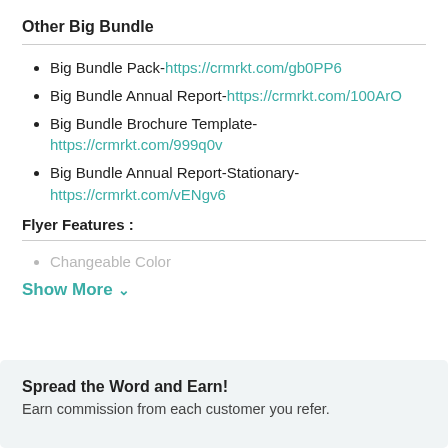Other Big Bundle
Big Bundle Pack- https://crmrkt.com/gb0PP6
Big Bundle Annual Report- https://crmrkt.com/100ArO
Big Bundle Brochure Template- https://crmrkt.com/999q0v
Big Bundle Annual Report-Stationary- https://crmrkt.com/vENgv6
Flyer Features :
Changeable Color
Show More
Spread the Word and Earn! Earn commission from each customer you refer.